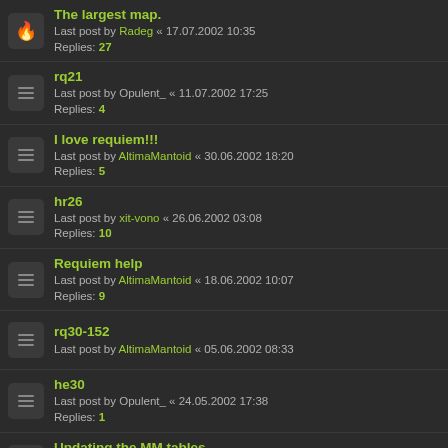The largest map. | Last post by Radeg « 17.07.2002 10:35 | Replies: 27
rq21 | Last post by Opulent_ « 11.07.2002 17:25 | Replies: 4
I love requiem!!! | Last post by AltimaMantoid « 30.06.2002 18:20 | Replies: 5
hr26 | Last post by xit-vono « 26.06.2002 03:08 | Replies: 10
Requiem help | Last post by AltimaMantoid « 18.06.2002 10:07 | Replies: 9
rq30-152 | Last post by AltimaMantoid « 05.06.2002 08:33
he30 | Last post by Opulent_ « 24.05.2002 17:38 | Replies: 1
Updating the MM tables... | Last post by Admin « 21.05.2002 21:54 | Replies: 14
new pwads question | Last post by Admin « 15.05.2002 21:30 | Replies: 10